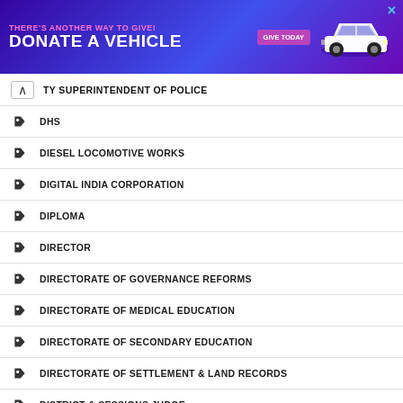[Figure (other): Advertisement banner: THERE'S ANOTHER WAY TO GIVE! DONATE A VEHICLE - GIVE TODAY, with car image and purple background]
TY SUPERINTENDENT OF POLICE
DHS
DIESEL LOCOMOTIVE WORKS
DIGITAL INDIA CORPORATION
DIPLOMA
DIRECTOR
DIRECTORATE OF GOVERNANCE REFORMS
DIRECTORATE OF MEDICAL EDUCATION
DIRECTORATE OF SECONDARY EDUCATION
DIRECTORATE OF SETTLEMENT & LAND RECORDS
DISTRICT & SESSIONS JUDGE
DISTRICT COOPERATIVE CENTRAL BANK